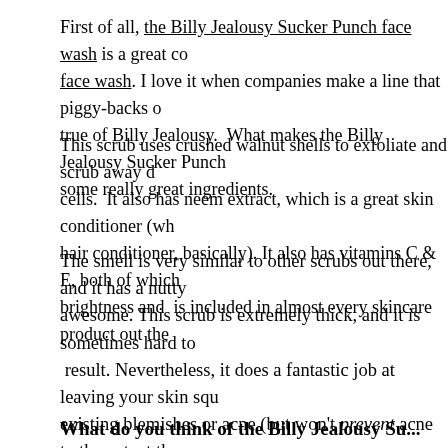First of all, the Billy Jealousy Sucker Punch face wash is a great co... face wash. I love it when companies make a line that piggy-backs o... true of Billy Jealousy. What makes the Billy Jealousy Sucker Punch... some really great ingredients.
This scrub uses crushed walnut shells to exfoliate and scrub away d... cells. It also has neem extract, which is a great skin conditioner (wh... hair conditioner, basically). It also has vitamins C & E, both of which... brightness and is included in almost every skincare product out the...
The smell is very similar to other scrubs out there, and it has a nutty... awesome. This scrub is extremely thick, and it is sometimes hard to... result. Nevertheless, it does a fantastic job at leaving your skin squ... existing blemishes or acne (but won't prevent acne to the extent tha... but it can help clear your pores out and prevent them from clogging...
I personally always scrub in the shower because it's easier to wash... when I follow up with the Billy Jealousy White Knight, it's like a drea... duo, you will get even better results. Overall, the Billy Jealousy Suc... scrub, and one that I highly recommend pairing with other Billy Jealo... more about this product by visiting The Motley.
What do you think of the Billy Jealousy Sucker...